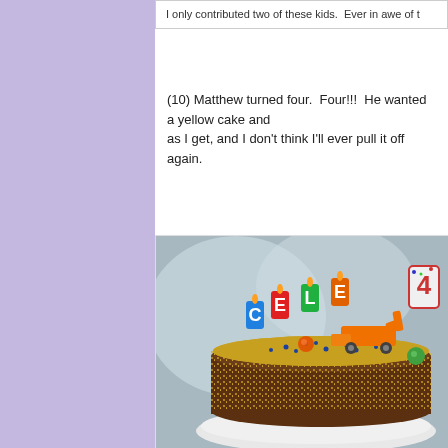I only contributed two of these kids.  Ever in awe of t
(10) Matthew turned four.  Four!!!  He wanted a yellow cake and... as I get, and I don't think I'll ever pull it off again.
[Figure (photo): Close-up photo of a birthday cake decorated with yellow sprinkles, colorful letter candles spelling CELE, a number 4 candle, toy excavator, and small decorative balls on top. The cake sits on a white plate against a gray background.]